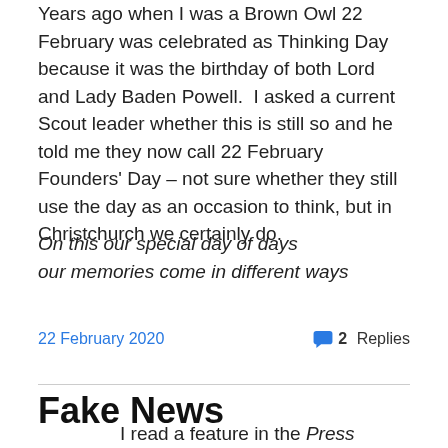Years ago when I was a Brown Owl 22 February was celebrated as Thinking Day because it was the birthday of both Lord and Lady Baden Powell.  I asked a current Scout leader whether this is still so and he told me they now call 22 February Founders' Day – not sure whether they still use the day as an occasion to think, but in Christchurch we certainly do.
On this our special day of days
our memories come in different ways
22 February 2020
2 Replies
Fake News
I read a feature in the Press